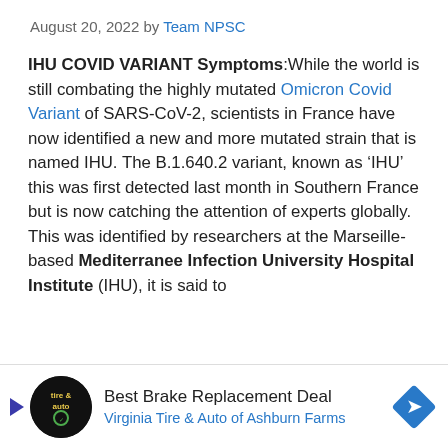August 20, 2022 by Team NPSC
IHU COVID VARIANT Symptoms:While the world is still combating the highly mutated Omicron Covid Variant of SARS-CoV-2, scientists in France have now identified a new and more mutated strain that is named IHU. The B.1.640.2 variant, known as ‘IHU’ this was first detected last month in Southern France but is now catching the attention of experts globally. This was identified by researchers at the Marseille-based Mediterranee Infection University Hospital Institute (IHU), it is said to
Best Brake Replacement Deal
Virginia Tire & Auto of Ashburn Farms